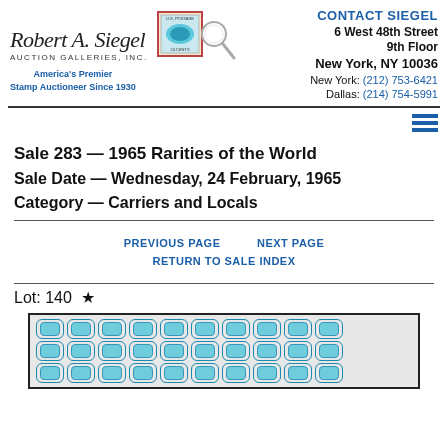Robert A. Siegel Auction Galleries, Inc. — America's Premier Stamp Auctioneer Since 1930
CONTACT SIEGEL
6 West 48th Street
9th Floor
New York, NY 10036
New York: (212) 753-6421
Dallas: (214) 754-5991
Sale 283 — 1965 Rarities of the World
Sale Date — Wednesday, 24 February, 1965
Category — Carriers and Locals
PREVIOUS PAGE    NEXT PAGE    RETURN TO SALE INDEX
Lot: 140 ★
[Figure (photo): Sheet of blue oval stamps arranged in rows, showing a stamp sheet with approximately 30 small blue oval stamps on a gray/white background, bordered in dark.]